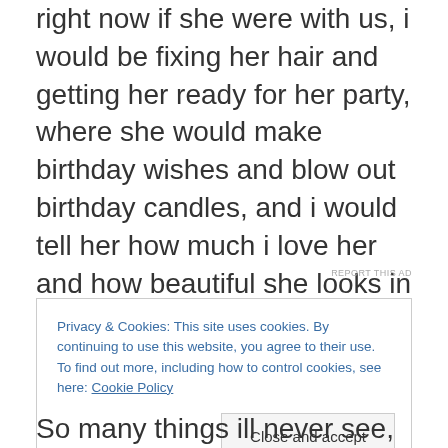right now if she were with us, i would be fixing her hair and getting her ready for her party, where she would make birthday wishes and blow out birthday candles, and i would tell her how much i love her and how beautiful she looks in her birthday dress. But i cant do any of those things and my feelings about that range from extreme anger to unbearable sadness. Which is not easy to handle, so i wrote her a poem and i thought i would share it here.
REPORT THIS AD
Privacy & Cookies: This site uses cookies. By continuing to use this website, you agree to their use.
To find out more, including how to control cookies, see here: Cookie Policy
Close and accept
So many things ill never see,